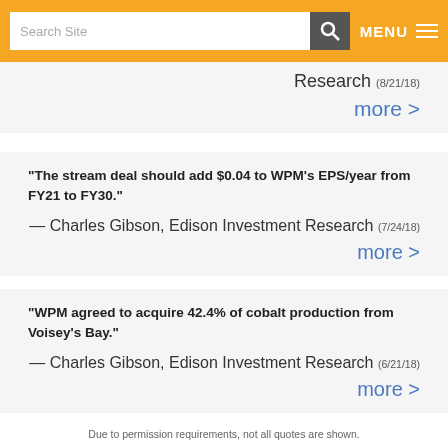Search Site | MENU
Research (8/21/18)
more >
"The stream deal should add $0.04 to WPM's EPS/year from FY21 to FY30."
— Charles Gibson, Edison Investment Research (7/24/18)
more >
"WPM agreed to acquire 42.4% of cobalt production from Voisey's Bay."
— Charles Gibson, Edison Investment Research (6/21/18)
more >
Due to permission requirements, not all quotes are shown.